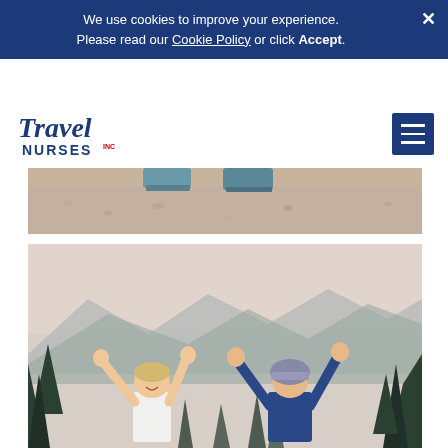We use cookies to improve your experience. Please read our Cookie Policy or click Accept.
[Figure (photo): Partial view of feet/shoes standing on gravel or dirt trail, top-down view]
[Figure (photo): Two young children with arms raised joyfully, standing in front of a mountain forest landscape with evergreen trees and misty mountains in background]
[Figure (logo): Travel Nurses Inc logo in dark blue italic script]
[Figure (infographic): Hamburger menu icon (three horizontal lines) in white on dark blue square background]